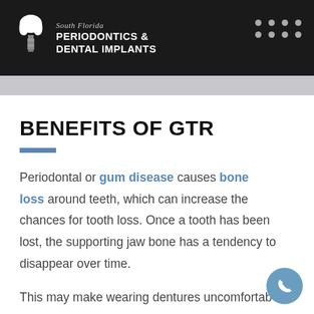South Florida PERIODONTICS & DENTAL IMPLANTS
BENEFITS OF GTR
Periodontal or gum disease causes bone loss around teeth, which can increase the chances for tooth loss. Once a tooth has been lost, the supporting jaw bone has a tendency to disappear over time.
This may make wearing dentures uncomfortab…